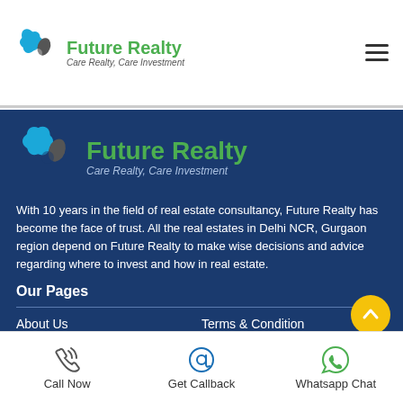[Figure (logo): Future Realty logo with spinning fan icon and text 'Future Realty, Care Realty, Care Investment' in the white header bar]
[Figure (logo): Future Realty logo (larger) in dark blue footer section with spinning fan icon and text 'Future Realty, Care Realty, Care Investment']
With 10 years in the field of real estate consultancy, Future Realty has become the face of trust. All the real estates in Delhi NCR, Gurgaon region depend on Future Realty to make wise decisions and advice regarding where to invest and how in real estate.
Our Pages
About Us
Terms & Condition
[Figure (infographic): Bottom action bar with three icons: phone/Call Now, at-sign/Get Callback, WhatsApp/Whatsapp Chat]